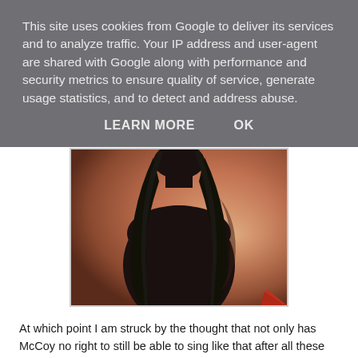This site uses cookies from Google to deliver its services and to analyze traffic. Your IP address and user-agent are shared with Google along with performance and security metrics to ensure quality of service, generate usage statistics, and to detect and address abuse.
LEARN MORE    OK
[Figure (photo): A person with long dark hair seen from behind, wearing a dark jacket, against a warm reddish-orange background. A small red triangular shape is visible at the bottom left.]
At which point I am struck by the thought that not only has McCoy no right to still be able to sing like that after all these years, he also still has hair when none of the rest of us have. In fact he's got more hair than all the men in the audience put together. Must be a wig. May have always been a wig...